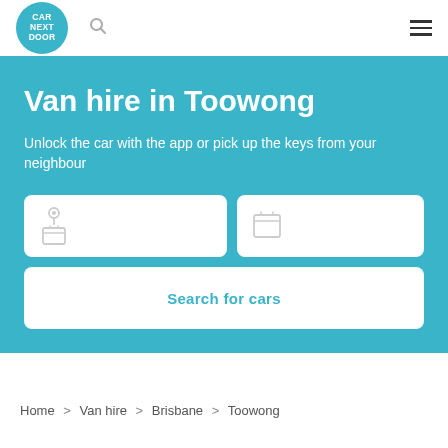Car Next Door — navigation header with logo, search icon, hamburger menu
Van hire in Toowong
Unlock the car with the app or pick up the keys from your neighbour
[Figure (screenshot): Location and date search input boxes with icons, and a Search for cars button]
Home > Van hire > Brisbane > Toowong